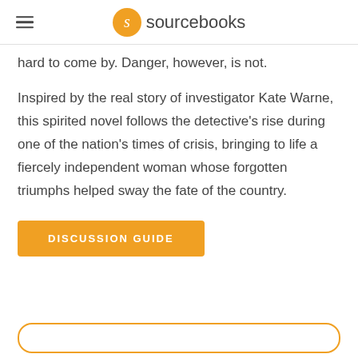sourcebooks
hard to come by. Danger, however, is not.
Inspired by the real story of investigator Kate Warne, this spirited novel follows the detective’s rise during one of the nation’s times of crisis, bringing to life a fiercely independent woman whose forgotten triumphs helped sway the fate of the country.
DISCUSSION GUIDE